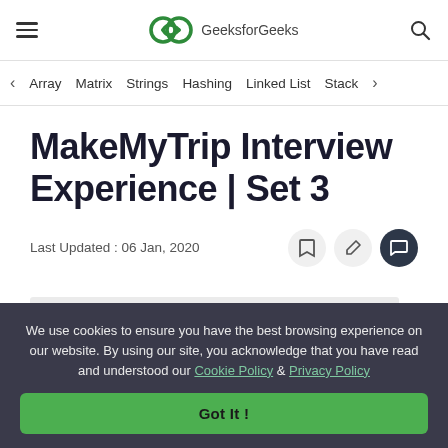GeeksforGeeks
Array  Matrix  Strings  Hashing  Linked List  Stack
MakeMyTrip Interview Experience | Set 3
Last Updated : 06 Jan, 2020
We use cookies to ensure you have the best browsing experience on our website. By using our site, you acknowledge that you have read and understood our Cookie Policy & Privacy Policy
Got It !